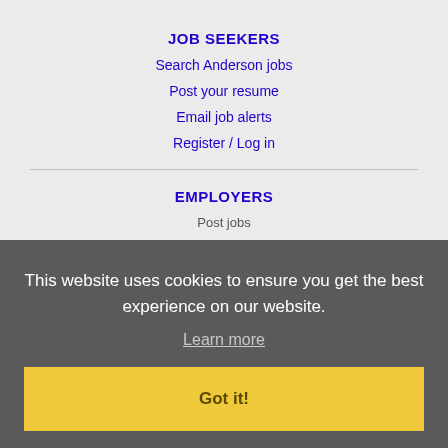JOB SEEKERS
Search Anderson jobs
Post your resume
Email job alerts
Register / Log in
EMPLOYERS
Post jobs
Search resumes
Email resume alerts
Advertise
IMMIGRATION SPECIALISTS
Post jobs
This website uses cookies to ensure you get the best experience on our website.
Learn more
Got it!